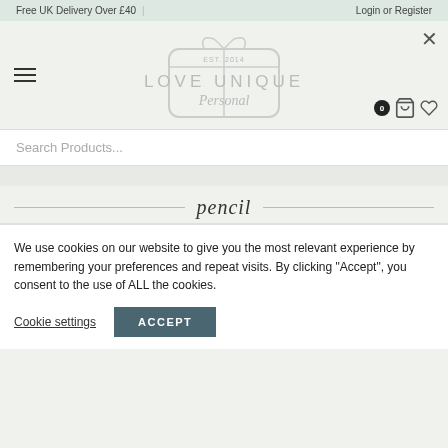Free UK Delivery Over £40 | Login or Register
[Figure (logo): Love Unique Personal logo with gift box outline, EST. 2014, script and uppercase lettering]
Search Products...
pencil
We use cookies on our website to give you the most relevant experience by remembering your preferences and repeat visits. By clicking "Accept", you consent to the use of ALL the cookies.
Cookie settings | ACCEPT